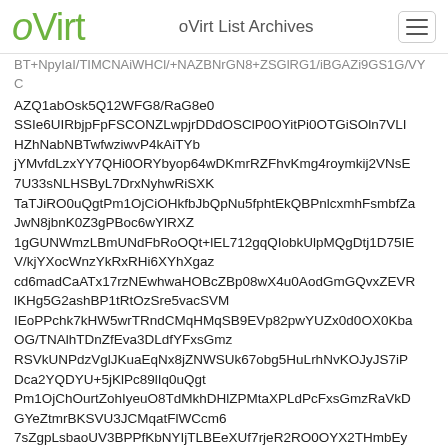oVirt | oVirt List Archives
AZQ1abOsk5Q12WFG8/RaG8e0 SSIe6UIRbjpFpFSCONZLwpjrDDdOSClP0OYitPi0OTGiSOln7VLI HZhNabNBTwfwziwvP4kAiTYb jYMvfdLzxYY7QHi0ORYbyop64wDKmrRZFhvKmg4roymkij2VNsE 7U33sNLHSByL7DrxNyhwRiSXK TaTJiRO0uQgtPm1OjCiOHkfbJbQpNu5fphtEkQBPnlcxmhFsmbfZa JwN8jbnK0Z3gPBoc6wYlRXZ 1gGUNWmzLBmUNdFbRoOQt+lEL712gqQIobkUlpMQgDtj1D75IE V/kjYXocWnzYkRxRHi6XYhXgaz cd6madCaATx17rzNEwhwaHOBcZBp08wX4u0AodGmGQvxZEVR lKHg5G2ashBP1tRtOzSre5vacSVM IEoPPchk7kHW5wrTRndCMqHMqSB9EVp82pwYUZx0d0OX0Kba OG/TNAlhTDnZfEva3DLdfYFxsGmz RSVkUNPdzVglJKuaEqNx8jZNWSUk67obg5HuLrhNvKOJyJS7iP Dca2YQDYU+5jKlPc89lIq0uQgt Pm1OjChOurtZohIyeuO8TdMkhDHlZPMtaXPLdPcFxsGmzRaVkD GYeZtmrBKSVU3JCMqatFlWCcm6 7sZgpLsbaoUV3BPPfKbNYIjTLBEeXUf7rjeR2RO0OYX2THmbEy OKk+5ulqiEjNm4TalpEsKYcrL5